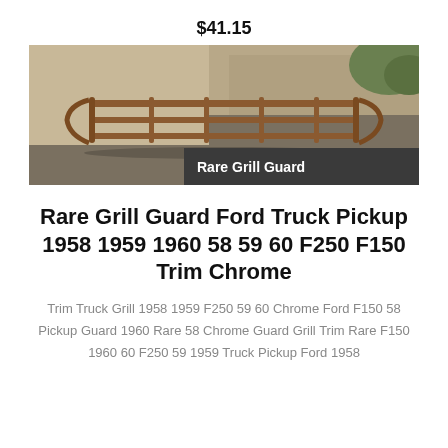$41.15
[Figure (photo): Photo of a rusty metal grill guard rack lying on a concrete surface, with a dark banner overlay reading 'Rare Grill Guard']
Rare Grill Guard Ford Truck Pickup 1958 1959 1960 58 59 60 F250 F150 Trim Chrome
Trim Truck Grill 1958 1959 F250 59 60 Chrome Ford F150 58 Pickup Guard 1960 Rare 58 Chrome Guard Grill Trim Rare F150 1960 60 F250 59 1959 Truck Pickup Ford 1958
$41.15